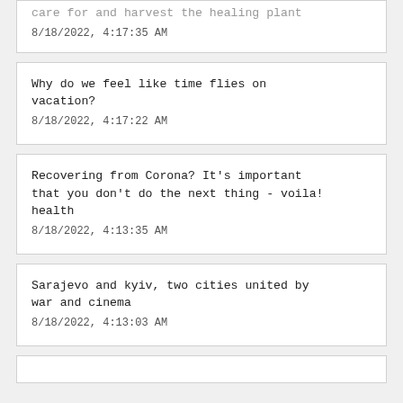care for and harvest the healing plant
8/18/2022, 4:17:35 AM
Why do we feel like time flies on vacation?
8/18/2022, 4:17:22 AM
Recovering from Corona? It's important that you don't do the next thing - voila! health
8/18/2022, 4:13:35 AM
Sarajevo and kyiv, two cities united by war and cinema
8/18/2022, 4:13:03 AM
(partial item at bottom)